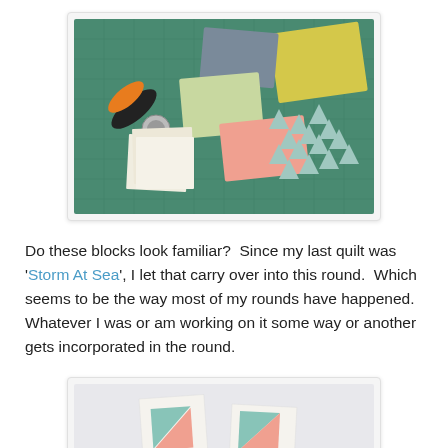[Figure (photo): A green cutting mat with fabric pieces in various colors (teal, yellow, peach/coral, white with floral prints) and an orange rotary cutter. Fabric pieces include star-shaped cut triangles and block shapes arranged on the mat.]
Do these blocks look familiar?  Since my last quilt was 'Storm At Sea', I let that carry over into this round.  Which seems to be the way most of my rounds have happened.  Whatever I was or am working on it some way or another gets incorporated in the round.
[Figure (photo): Two small quilt block units on a light background, showing pieced triangles in mint/teal and peach/coral colors on white fabric squares.]